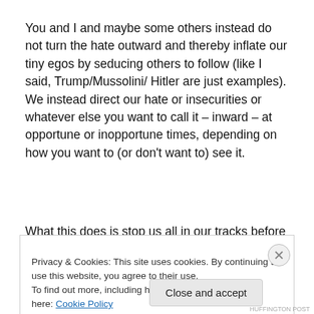You and I and maybe some others instead do not turn the hate outward and thereby inflate our tiny egos by seducing others to follow (like I said, Trump/Mussolini/ Hitler are just examples). We instead direct our hate or insecurities or whatever else you want to call it – inward – at opportune or inopportune times, depending on how you want to (or don't want to) see it.
What this does is stop us all in our tracks before any risk is
Privacy & Cookies: This site uses cookies. By continuing to use this website, you agree to their use.
To find out more, including how to control cookies, see here: Cookie Policy